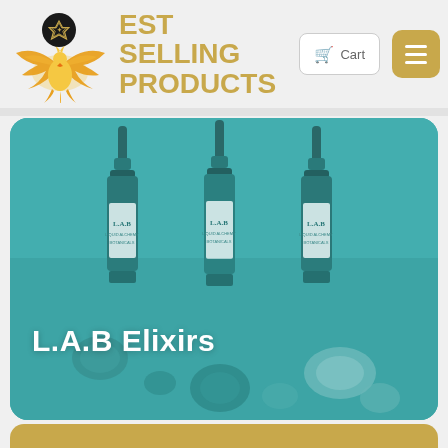BEST SELLING PRODUCTS
[Figure (photo): Three L.A.B branded dropper bottles on a teal background with crystals and gemstones, labeled L.A.B Elixirs]
L.A.B Elixirs